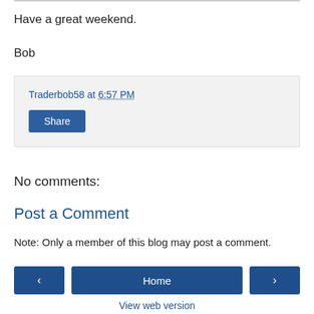Have a great weekend.
Bob
Traderbob58 at 6:57 PM
Share
No comments:
Post a Comment
Note: Only a member of this blog may post a comment.
‹ Home › View web version